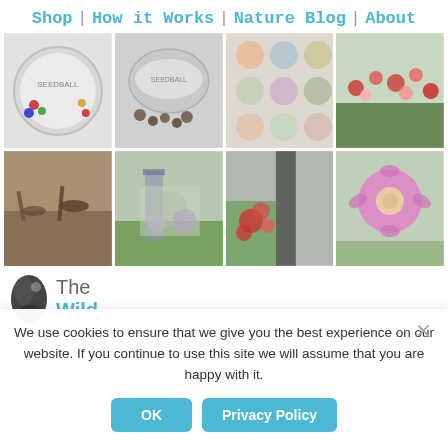Shop | How it Works | Nature Blog | About
[Figure (photo): Seedball tin with colorful seeds and Seedball branding, top-down view]
[Figure (photo): Open Seedball tin with seed balls scattered beside it]
[Figure (photo): Grid of circular wildflower variety images with labels]
[Figure (photo): Wildflower meadow with red and mixed flowers]
[Figure (photo): Close-up of soil with small seedlings emerging]
[Figure (photo): Person standing in garden next to tall wildflower display]
[Figure (photo): Red flowers growing beside a dark structure/gate]
[Figure (photo): Pink daisy-like wildflowers closeup]
[Figure (logo): The Wild... logo with bird silhouette and teal text]
We use cookies to ensure that we give you the best experience on our website. If you continue to use this site we will assume that you are happy with it.